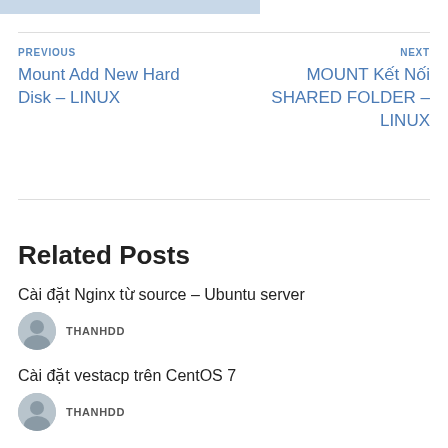PREVIOUS
Mount Add New Hard Disk – LINUX
NEXT
MOUNT Kết Nối SHARED FOLDER – LINUX
Related Posts
Cài đặt Nginx từ source – Ubuntu server
THANHDD
Cài đặt vestacp trên CentOS 7
THANHDD